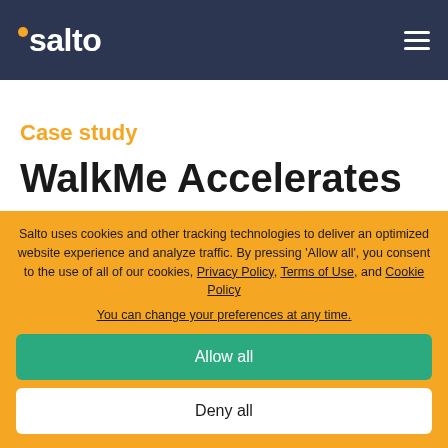salto
Case study
WalkMe Accelerates
Salto uses cookies and other tracking technologies to deliver an optimized website experience and analyze traffic. By pressing 'Allow all', you consent to the use of all of our cookies, Privacy Policy, Terms of Use, and Cookie Policy
You can change your preferences at any time.
Allow all
Deny all